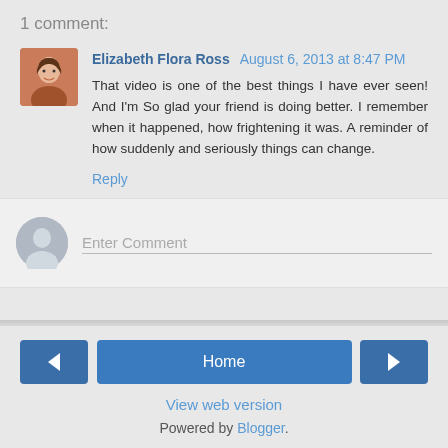1 comment:
Elizabeth Flora Ross  August 6, 2013 at 8:47 PM
That video is one of the best things I have ever seen! And I'm So glad your friend is doing better. I remember when it happened, how frightening it was. A reminder of how suddenly and seriously things can change.
Reply
Enter Comment
View web version
Powered by Blogger.